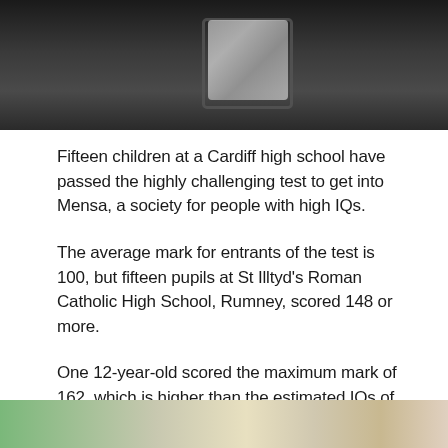[Figure (photo): Photo of school students in dark uniforms, partially visible at the top of the page]
Fifteen children at a Cardiff high school have passed the highly challenging test to get into Mensa, a society for people with high IQs.
The average mark for entrants of the test is 100, but fifteen pupils at St Illtyd's Roman Catholic High School, Rumney, scored 148 or more.
One 12-year-old scored the maximum mark of 162, which is higher than the estimated IQs of Einstein and Stephen Hawking.
The pupils will join around 20,000 other members of British Mensa.
[Figure (photo): Partial photo visible at the bottom of the page]